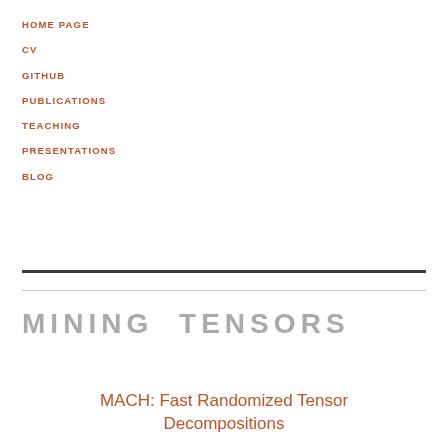HOME PAGE
CV
GITHUB
PUBLICATIONS
TEACHING
PRESENTATIONS
BLOG
MINING TENSORS
MACH: Fast Randomized Tensor Decompositions